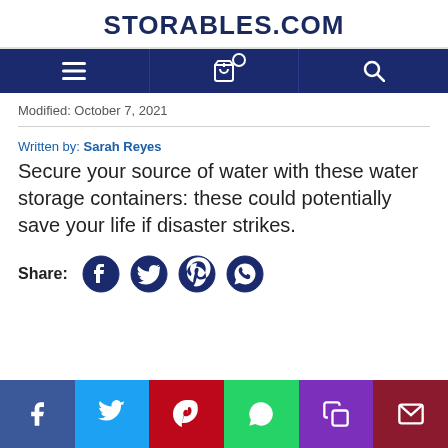STORABLES.COM
[Figure (screenshot): Navigation bar with menu, cart, and search icons on dark blue background]
Modified: October 7, 2021
Written by: Sarah Reyes
Secure your source of water with these water storage containers: these could potentially save your life if disaster strikes.
[Figure (infographic): Share icons: Facebook, Twitter, Pinterest, WhatsApp]
[Figure (infographic): Bottom share bar: Facebook (blue), Twitter (cyan/blue), Pinterest (red), WhatsApp (green), Copy (purple), Email (dark red)]